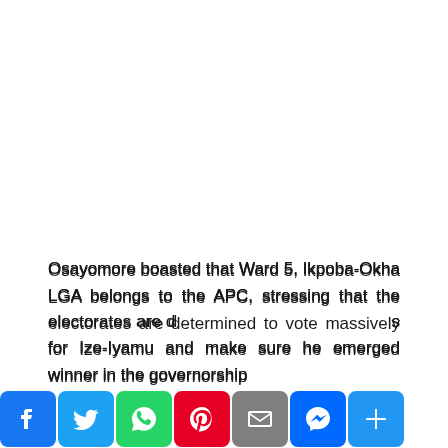Osayomore boasted that Ward 5, Ikpoba-Okha LGA belongs to the APC, stressing that the electorates are determined to vote massively for Ize-Iyamu and make sure he emerged winner in the governorship
[Figure (other): Social media sharing bar with icons for Facebook, Twitter, WhatsApp, Pinterest, Email, Messenger, and Share]